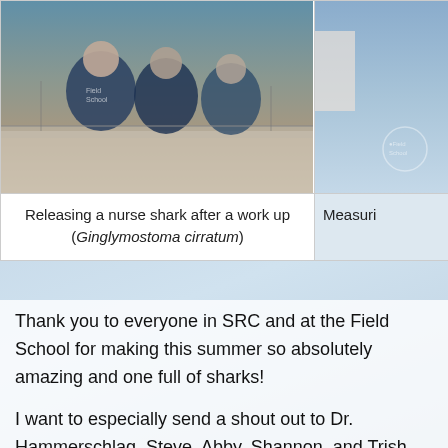[Figure (photo): People working on a nurse shark on a boat deck, wearing blue Field School shirts and caps]
Releasing a nurse shark after a work up (Ginglymostoma cirratum)
[Figure (photo): Partial view of another field activity, cropped at right edge, with Field School logo visible]
Measuri
Thank you to everyone in SRC and at the Field School for making this summer so absolutely amazing and one full of sharks!
I want to especially send a shout out to Dr. Hammerschlag, Steve, Abby, Shannon, and Trish from SRC for supporting, teaching and encouraging me. I might be the youngest person in our Lab but no one is more honored to work with you and everyone at SRC. Thank you SRC.
I'd also like to very much thank Julia, Catherine, Christopher, and Viola from Field School for...